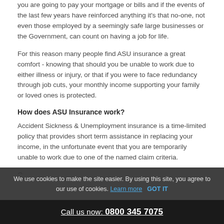you are going to pay your mortgage or bills and if the events of the last few years have reinforced anything it's that no-one, not even those employed by a seemingly safe large businesses or the Government, can count on having a job for life.
For this reason many people find ASU insurance a great comfort - knowing that should you be unable to work due to either illness or injury, or that if you were to face redundancy through job cuts, your monthly income supporting your family or loved ones is protected.
How does ASU Insurance work?
Accident Sickness & Unemployment insurance is a time-limited policy that provides short term assistance in replacing your income, in the unfortunate event that you are temporarily unable to work due to one of the named claim criteria.
O... y... B...
We use cookies to make the site easier. By using this site, you agree to our use of cookies. Learn more   GOT IT
Call us now: 0800 345 7075